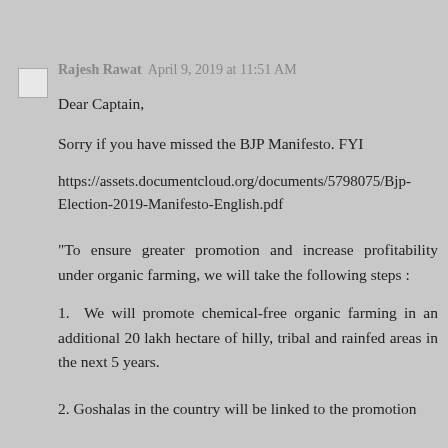Rajesh Rawat  April 9, 2019 at 11:51 AM
Dear Captain,
Sorry if you have missed the BJP Manifesto. FYI
https://assets.documentcloud.org/documents/5798075/Bjp-Election-2019-Manifesto-English.pdf
"To ensure greater promotion and increase profitability under organic farming, we will take the following steps :
1.  We will promote chemical-free organic farming in an additional 20 lakh hectare of hilly, tribal and rainfed areas in the next 5 years.
2. Goshalas in the country will be linked to the promotion